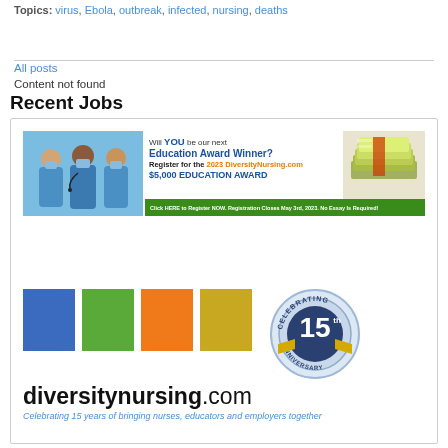Topics: virus, Ebola, outbreak, infected, nursing, deaths
All posts
Content not found
Recent Jobs
[Figure (screenshot): DiversityNursing.com advertisement banner showing nurses with masks and $5,000 Education Award promotion for 2023]
[Figure (logo): DiversityNursing.com logo with four colored squares (blue, green, orange, gold) and a 15th Anniversary celebrating badge. Tagline: Celebrating 15 years of bringing nurses, educators and employers together]